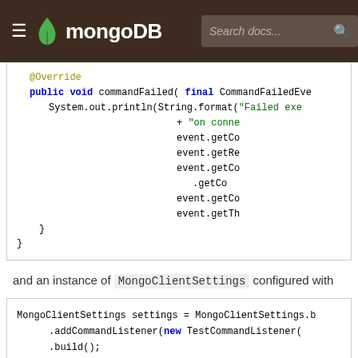MongoDB
[Figure (screenshot): Code snippet showing @Override public void commandFailed method with System.out.println and event getter calls]
and an instance of MongoClientSettings configured with
[Figure (screenshot): Code snippet showing MongoClientSettings settings = MongoClientSettings.b .addCommandListener(new TestCommandListener( .build();]